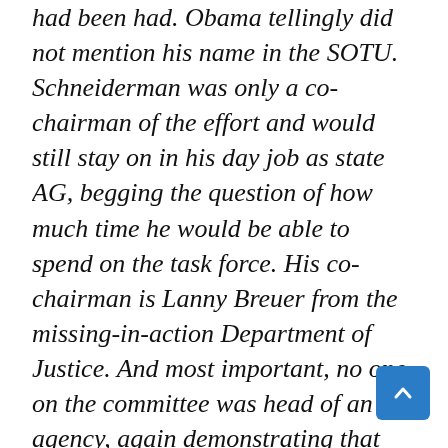had been had. Obama tellingly did not mention his name in the SOTU. Schneiderman was only a co-chairman of the effort and would still stay on in his day job as state AG, begging the question of how much time he would be able to spend on the task force. His co-chairman is Lanny Breuer from the missing-in-action Department of Justice. And most important, no one on the committee was head of an agency, again demonstrating that this wasn a top Administration priority.